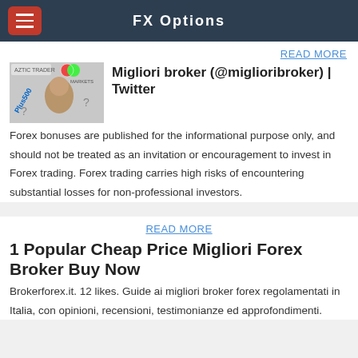FX Options
READ MORE
Migliori broker (@miglioribroker) | Twitter
Forex bonuses are published for the informational purpose only, and should not be treated as an invitation or encouragement to invest in Forex trading. Forex trading carries high risks of encountering substantial losses for non-professional investors.
READ MORE
1 Popular Cheap Price Migliori Forex Broker Buy Now
Brokerforex.it. 12 likes. Guide ai migliori broker forex regolamentati in Italia, con opinioni, recensioni, testimonianze ed approfondimenti.